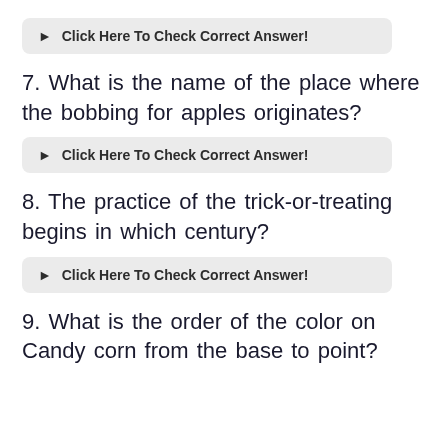Click Here To Check Correct Answer!
7. What is the name of the place where the bobbing for apples originates?
Click Here To Check Correct Answer!
8. The practice of the trick-or-treating begins in which century?
Click Here To Check Correct Answer!
9. What is the order of the color on Candy corn from the base to point?